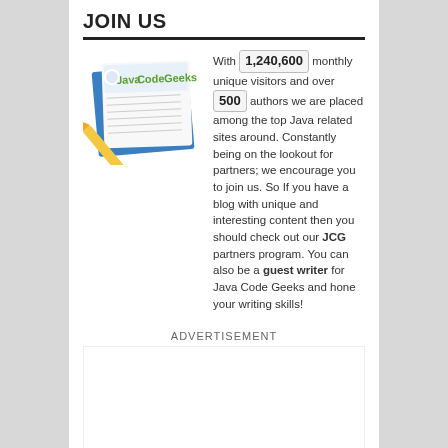JOIN US
With 1,240,600 monthly unique visitors and over 500 authors we are placed among the top Java related sites around. Constantly being on the lookout for partners; we encourage you to join us. So If you have a blog with unique and interesting content then you should check out our JCG partners program. You can also be a guest writer for Java Code Geeks and hone your writing skills!
[Figure (illustration): Java Code Geeks logo on a notepad with a pencil]
ADVERTISEMENT
ADVERTISEMENT
[Figure (screenshot): Hold and Move advertisement banner with help and close buttons]